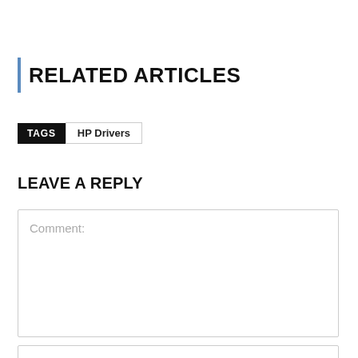RELATED ARTICLES
TAGS  HP Drivers
LEAVE A REPLY
Comment:
Name: